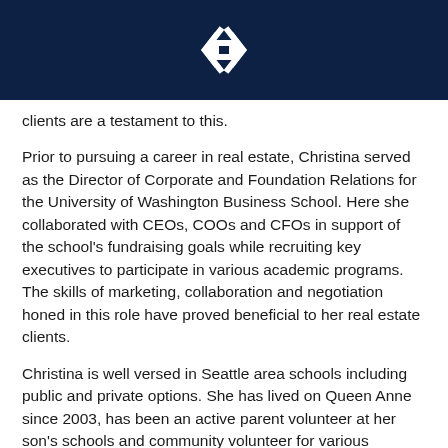[Figure (logo): White geometric diamond/arrow logo on dark navy blue header bar]
clients are a testament to this.
Prior to pursuing a career in real estate, Christina served as the Director of Corporate and Foundation Relations for the University of Washington Business School. Here she collaborated with CEOs, COOs and CFOs in support of the school's fundraising goals while recruiting key executives to participate in various academic programs.  The skills of marketing, collaboration and negotiation honed in this role have proved beneficial to her real estate clients.
Christina is well versed in Seattle area schools including public and private options. She has lived on Queen Anne since 2003, has been an active parent volunteer at her son's schools and community volunteer for various organizations. She earned a bachelor's degree in Communications from the University of Washington.
Christina is recognized for exceptional service to her